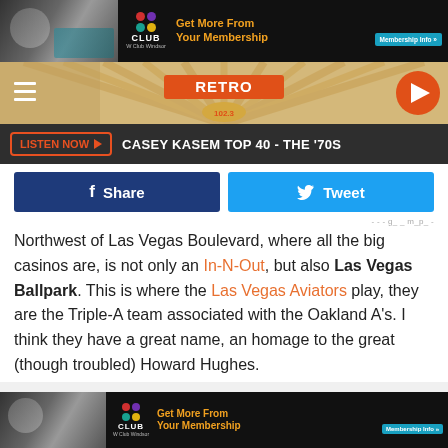[Figure (screenshot): Top advertisement banner for W Club Windsor showing gym photo and 'Get More From Your Membership' text]
[Figure (screenshot): Retro 102.3 radio station navigation bar with hamburger menu, retro logo, and play button]
LISTEN NOW ▶  CASEY KASEM TOP 40 - THE '70S
[Figure (screenshot): Facebook Share and Twitter Tweet social sharing buttons]
Northwest of Las Vegas Boulevard, where all the big casinos are, is not only an In-N-Out, but also Las Vegas Ballpark. This is where the Las Vegas Aviators play, they are the Triple-A team associated with the Oakland A's. I think they have a great name, an homage to the great (though troubled) Howard Hughes.
[Figure (screenshot): Bottom advertisement banner for W Club Windsor showing gym photo and 'Get More From Your Membership' text]